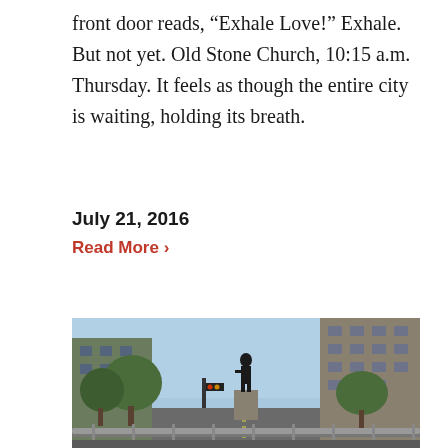front door reads, “Exhale Love!” Exhale. But not yet. Old Stone Church, 10:15 a.m. Thursday. It feels as though the entire city is waiting, holding its breath.
July 21, 2016
Read More ›
[Figure (photo): Street-level urban scene showing a city boulevard with a silhouetted statue on a pedestal in the center, flanked by trees and tall buildings on both sides, with metal crowd-control barriers visible in the foreground and a traffic signal in the mid-ground.]